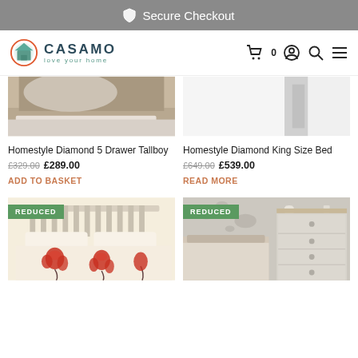Secure Checkout
[Figure (logo): Casamo - love your home logo with house icon in circle]
Homestyle Diamond 5 Drawer Tallboy
£329.00  £289.00
ADD TO BASKET
Homestyle Diamond King Size Bed
£649.00  £539.00
READ MORE
[Figure (photo): Bed with red floral duvet cover with REDUCED badge]
[Figure (photo): Bedroom furniture with grey chest of drawers and bed with REDUCED badge]